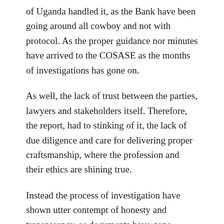of Uganda handled it, as the Bank have been going around all cowboy and not with protocol. As the proper guidance nor minutes have arrived to the COSASE as the months of investigations has gone on.
As well, the lack of trust between the parties, lawyers and stakeholders itself. Therefore, the report, had to stinking of it, the lack of due diligence and care for delivering proper craftsmanship, where the profession and their ethics are shining true.
Instead the process of investigation have shown utter contempt of honesty and transparency, as documents have gone missing and people have taken trips away, while they were supposed to testify to the Committee.